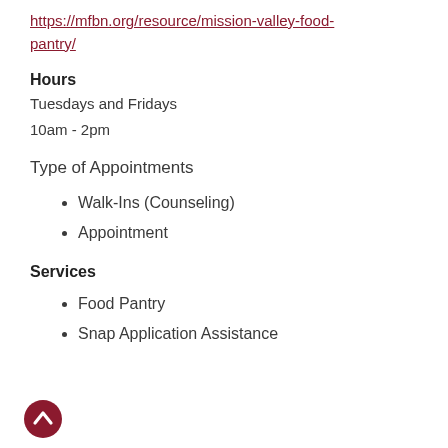https://mfbn.org/resource/mission-valley-food-pantry/
Hours
Tuesdays and Fridays
10am - 2pm
Type of Appointments
Walk-Ins (Counseling)
Appointment
Services
Food Pantry
Snap Application Assistance
[Figure (other): Back to top arrow icon, dark red circle with upward chevron]